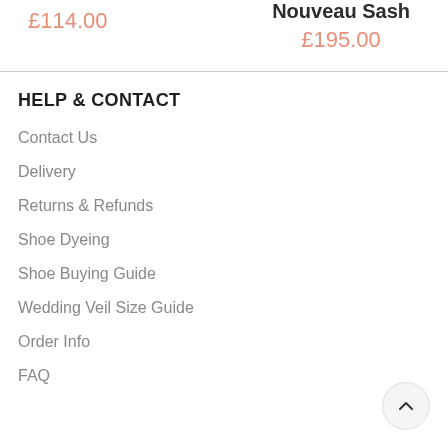£114.00
Nouveau Sash
£195.00
HELP & CONTACT
Contact Us
Delivery
Returns & Refunds
Shoe Dyeing
Shoe Buying Guide
Wedding Veil Size Guide
Order Info
FAQ